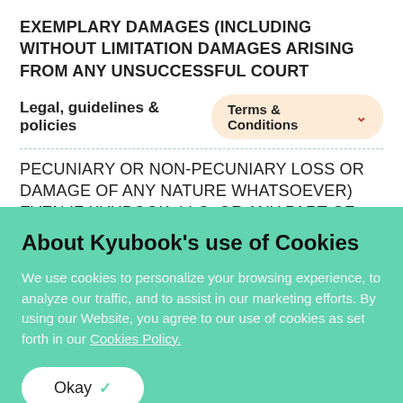EXEMPLARY DAMAGES (INCLUDING WITHOUT LIMITATION DAMAGES ARISING FROM ANY UNSUCCESSFUL COURT
Legal, guidelines & policies   Terms & Conditions
PECUNIARY OR NON-PECUNIARY LOSS OR DAMAGE OF ANY NATURE WHATSOEVER) EVEN IF KYUBOOK, LLC. OR ANY PART OF KYUBOOK'S PLATFORM, WEBSITE, AND SERVICES HAS BEEN ADVISED OF THE POSSIBILITY OF
About Kyubook's use of Cookies
We use cookies to personalize your browsing experience, to analyze our traffic, and to assist in our marketing efforts. By using our Website, you agree to our use of cookies as set forth in our Cookies Policy.
Okay ✓